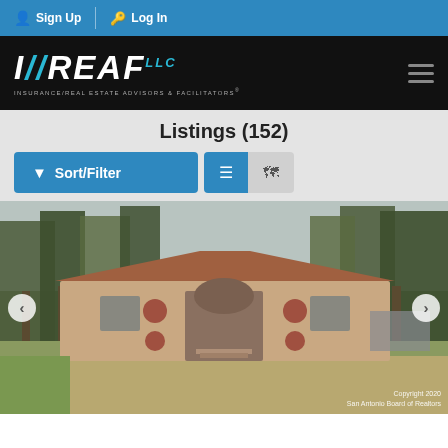Sign Up | Log In
[Figure (logo): IREAF LLC - Insurance/Real Estate Advisors & Facilitators logo on black background]
Listings (152)
Sort/Filter button and view toggle icons
[Figure (photo): Exterior photo of a single-story residential home with trees in front yard, brown/tan brick facade, arched entryway. Copyright 2020 San Antonio Board of Realtors.]